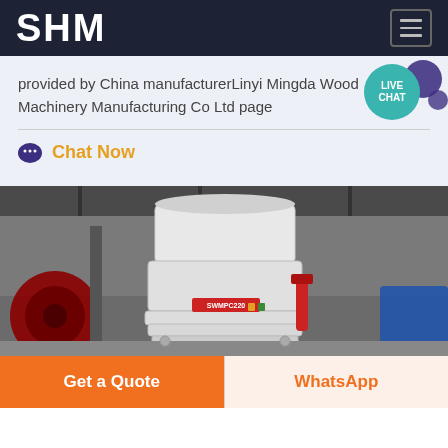SHM
provided by China manufacturerLinyi Mingda Wood Machinery Manufacturing Co Ltd page
Chat Now
[Figure (photo): Industrial machinery - a large white cylindrical grinding/milling machine labeled SWMPC220 in a factory setting]
Get a Quote
WhatsApp